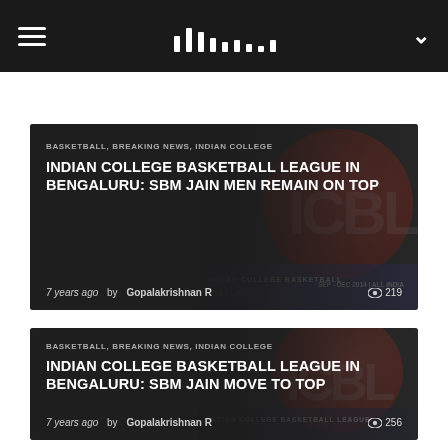Navigation bar with hamburger menu, logo, and chevron
BASKETBALL, BREAKING NEWS, INDIAN COLLEGE
INDIAN COLLEGE BASKETBALL LEAGUE IN BENGALURU: SBM JAIN MEN REMAIN ON TOP
7 years ago by Gopalakrishnan R · 219 views
BASKETBALL, BREAKING NEWS, INDIAN COLLEGE
INDIAN COLLEGE BASKETBALL LEAGUE IN BENGALURU: SBM JAIN MOVE TO TOP
7 years ago by Gopalakrishnan R · 256 views